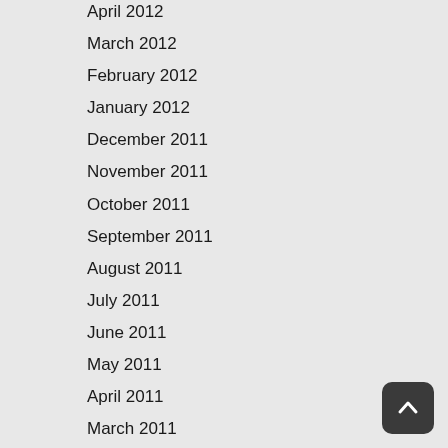April 2012
March 2012
February 2012
January 2012
December 2011
November 2011
October 2011
September 2011
August 2011
July 2011
June 2011
May 2011
April 2011
March 2011
February 2011
January 2011
December 2010